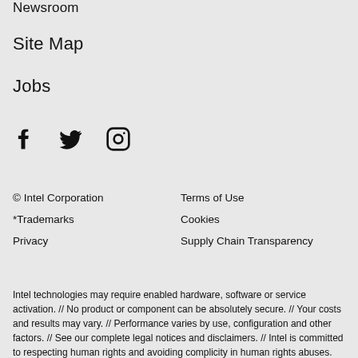Newsroom
Site Map
Jobs
[Figure (infographic): Social media icons: Facebook, Twitter, Instagram]
© Intel Corporation
Terms of Use
*Trademarks
Cookies
Privacy
Supply Chain Transparency
Intel technologies may require enabled hardware, software or service activation. // No product or component can be absolutely secure. // Your costs and results may vary. // Performance varies by use, configuration and other factors. // See our complete legal notices and disclaimers. // Intel is committed to respecting human rights and avoiding complicity in human rights abuses. See Intel's Global Human Rights Principles. Intel's products and